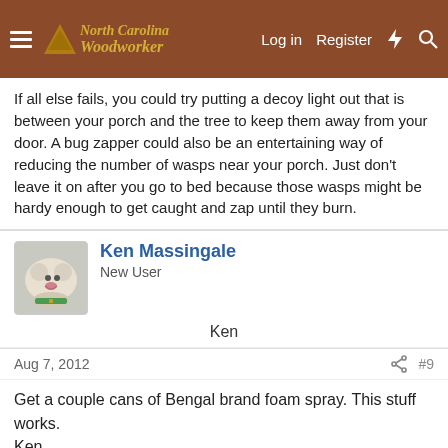North Carolina Woodworker — Log in  Register
If all else fails, you could try putting a decoy light out that is between your porch and the tree to keep them away from your door. A bug zapper could also be an entertaining way of reducing the number of wasps near your porch. Just don't leave it on after you go to bed because those wasps might be hardy enough to get caught and zap until they burn.
Ken Massingale
New User
Ken
Aug 7, 2012
#9
Get a couple cans of Bengal brand foam spray. This stuff works.
Ken
kclark
New User